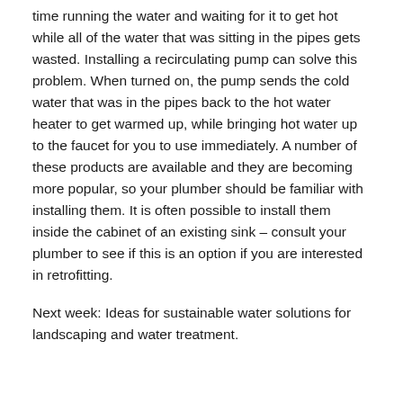time running the water and waiting for it to get hot while all of the water that was sitting in the pipes gets wasted. Installing a recirculating pump can solve this problem. When turned on, the pump sends the cold water that was in the pipes back to the hot water heater to get warmed up, while bringing hot water up to the faucet for you to use immediately. A number of these products are available and they are becoming more popular, so your plumber should be familiar with installing them. It is often possible to install them inside the cabinet of an existing sink – consult your plumber to see if this is an option if you are interested in retrofitting.
Next week: Ideas for sustainable water solutions for landscaping and water treatment.